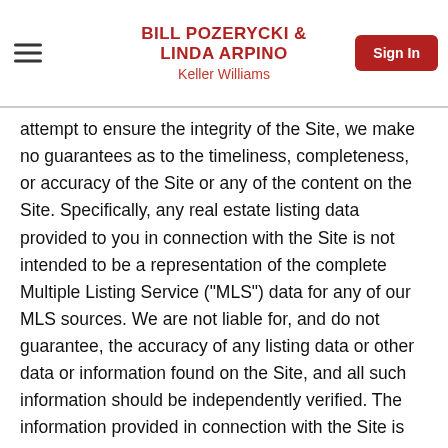BILL POZERYCKI & LINDA ARPINO
Keller Williams
attempt to ensure the integrity of the Site, we make no guarantees as to the timeliness, completeness, or accuracy of the Site or any of the content on the Site. Specifically, any real estate listing data provided to you in connection with the Site is not intended to be a representation of the complete Multiple Listing Service ("MLS") data for any of our MLS sources. We are not liable for, and do not guarantee, the accuracy of any listing data or other data or information found on the Site, and all such information should be independently verified. The information provided in connection with the Site is for the personal, non-commercial use of consumers and may not be used for any purpose other than to identify prospective properties consumers may be interested in purchasing. Some properties which appear for sale on this website may no longer be available because they are under contract, have sold, or are no longer being offered for sale. If you believe any portion of the Site includes an error or inaccuracy,